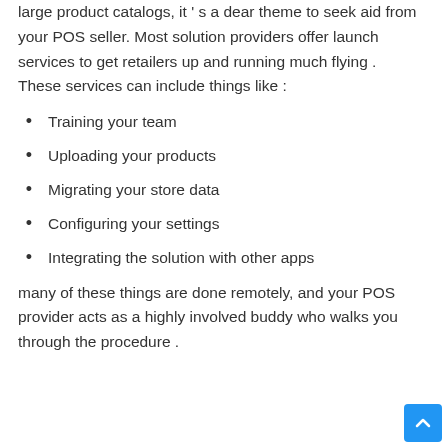large product catalogs, it ' s a dear theme to seek aid from your POS seller. Most solution providers offer launch services to get retailers up and running much flying . These services can include things like :
Training your team
Uploading your products
Migrating your store data
Configuring your settings
Integrating the solution with other apps
many of these things are done remotely, and your POS provider acts as a highly involved buddy who walks you through the procedure .